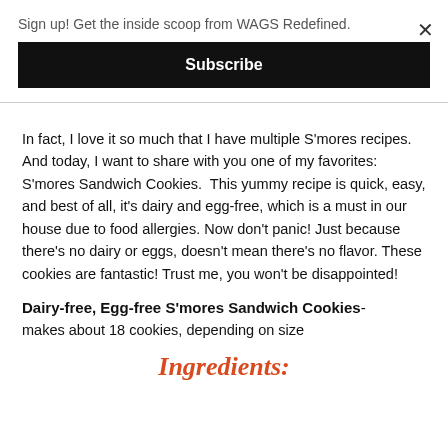Sign up! Get the inside scoop from WAGS Redefined.
Subscribe
In fact, I love it so much that I have multiple S'mores recipes. And today, I want to share with you one of my favorites: S'mores Sandwich Cookies.  This yummy recipe is quick, easy, and best of all, it's dairy and egg-free, which is a must in our house due to food allergies. Now don't panic! Just because there's no dairy or eggs, doesn't mean there's no flavor. These cookies are fantastic! Trust me, you won't be disappointed!
Dairy-free, Egg-free S'mores Sandwich Cookies- makes about 18 cookies, depending on size
Ingredients: